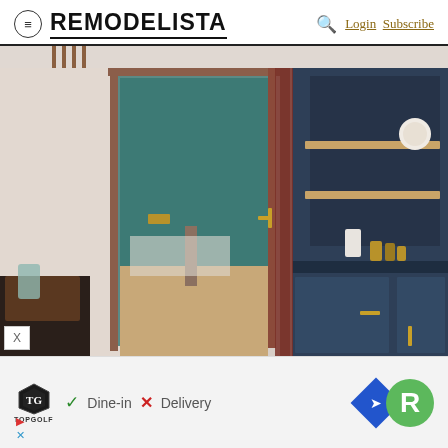REMODELISTA — Login  Subscribe
[Figure (photo): Interior room photo showing a bedroom/living space with dark blue cabinetry with brass handles and open shelves on the right, a doorway leading to a teal-painted room, wooden floors, and a small table with a glass jar in the foreground left. Dark wood framing elements are visible.]
[Figure (screenshot): Advertisement banner showing TopGolf logo, Dine-in with green checkmark, Delivery with red X, and a navigation/Remodelista app icon on the right.]